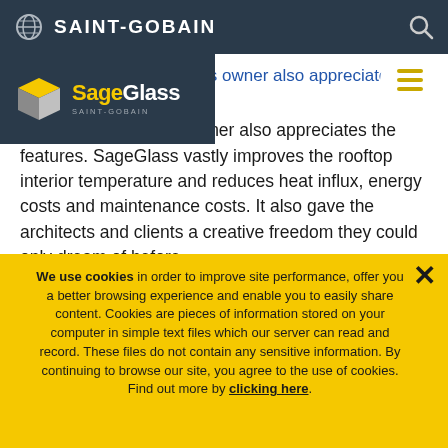SAINT-GOBAIN
[Figure (logo): SageGlass by Saint-Gobain logo with yellow/grey cube icon and white text on dark background]
SageGlass; the bar's owner also appreciates the features. SageGlass vastly improves the rooftop interior temperature and reduces heat influx, energy costs and maintenance costs. It also gave the architects and clients a creative freedom they could only dream of before.
We use cookies in order to improve site performance, offer you a better browsing experience and enable you to easily share content. Cookies are pieces of information stored on your computer in simple text files which our server can read and record. These files do not contain any sensitive information. By continuing to browse our site, you agree to the use of cookies. Find out more by clicking here.